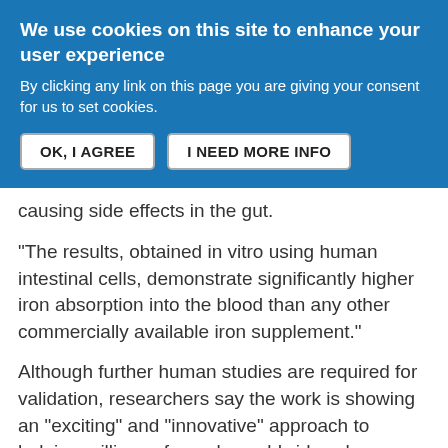We use cookies on this site to enhance your user experience
By clicking any link on this page you are giving your consent for us to set cookies.
OK, I AGREE | I NEED MORE INFO
causing side effects in the gut.
“The results, obtained in vitro using human intestinal cells, demonstrate significantly higher iron absorption into the blood than any other commercially available iron supplement.”
Although further human studies are required for validation, researchers say the work is showing an “exciting” and “innovative” approach to helping millions of people worldwide, who struggle with symptoms commonly including tiredness, lethargy, shortness of breath, slow cognitive and social development during childhood, decreased immune